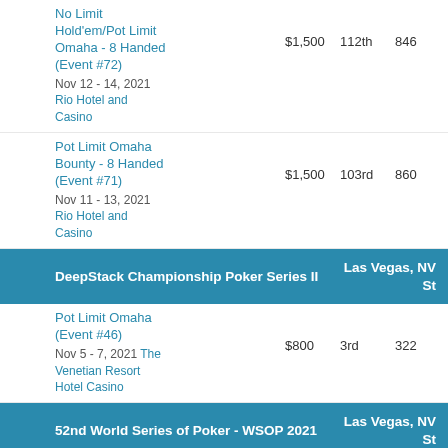| Event | Buy-in | Place | Entries | Winnings | Points |
| --- | --- | --- | --- | --- | --- |
| No Limit Hold'em/Pot Limit Omaha - 8 Handed (Event #72)
Nov 12 - 14, 2021
Rio Hotel and Casino | $1,500 | 112th | 846 | $2,414 | 67.50 pts |
| Pot Limit Omaha Bounty - 8 Handed (Event #71)
Nov 11 - 13, 2021
Rio Hotel and Casino | $1,500 | 103rd | 860 | $1,653 | 69.29 pts |
DeepStack Championship Poker Series II | Las Vegas, NV St
| Event | Buy-in | Place | Entries | Winnings | Points |
| --- | --- | --- | --- | --- | --- |
| Pot Limit Omaha (Event #46)
Nov 5 - 7, 2021 The Venetian Resort Hotel Casino | $800 | 3rd | 322 | $23,216 | 120.78 pts |
52nd World Series of Poker - WSOP 2021 | Las Vegas, NV St
No Limit Hold'em